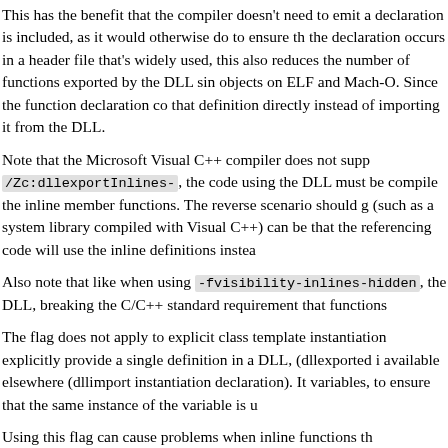This has the benefit that the compiler doesn't need to emit a declaration is included, as it would otherwise do to ensure th the declaration occurs in a header file that's widely used, this also reduces the number of functions exported by the DLL sin objects on ELF and Mach-O. Since the function declaration co that definition directly instead of importing it from the DLL.
Note that the Microsoft Visual C++ compiler does not supp /Zc:dllexportInlines-, the code using the DLL must be compile the inline member functions. The reverse scenario should g (such as a system library compiled with Visual C++) can be that the referencing code will use the inline definitions instea
Also note that like when using -fvisibility-inlines-hidden, the DLL, breaking the C/C++ standard requirement that functions
The flag does not apply to explicit class template instantiation explicitly provide a single definition in a DLL, (dllexported i available elsewhere (dllimport instantiation declaration). It variables, to ensure that the same instance of the variable is u
Using this flag can cause problems when inline functions th